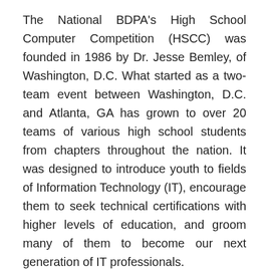The National BDPA's High School Computer Competition (HSCC) was founded in 1986 by Dr. Jesse Bemley, of Washington, D.C. What started as a two-team event between Washington, D.C. and Atlanta, GA has grown to over 20 teams of various high school students from chapters throughout the nation. It was designed to introduce youth to fields of Information Technology (IT), encourage them to seek technical certifications with higher levels of education, and groom many of them to become our next generation of IT professionals.